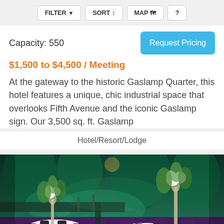FILTER  SORT  MAP  ?
Capacity: 550
Request Pricing
$1,500 to $4,500 / Meeting
At the gateway to the historic Gaslamp Quarter, this hotel features a unique, chic industrial space that overlooks Fifth Avenue and the iconic Gaslamp sign. Our 3,500 sq. ft. Gaslamp
Hotel/Resort/Lodge
[Figure (photo): Event hall with round tables set for dinner, white floral centerpieces in tall glass vases, black chairs, and a dramatic teal/green forest mural backdrop with stage lighting]